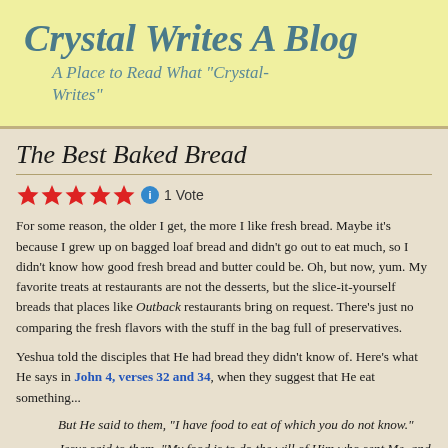Crystal Writes A Blog
A Place to Read What "Crystal-Writes"
The Best Baked Bread
★★★★★ ℹ 1 Vote
For some reason, the older I get, the more I like fresh bread. Maybe it's because I grew up on bagged loaf bread and didn't go out to eat much, so I didn't know how good fresh bread and butter could be. Oh, but now, yum. My favorite treats at restaurants are not the desserts, but the slice-it-yourself breads that places like Outback restaurants bring on request. There's just no comparing the fresh flavors with the stuff in the bag full of preservatives.
Yeshua told the disciples that He had bread they didn't know of. Here's what He says in John 4, verses 32 and 34, when they suggest that He eat something...
But He said to them, "I have food to eat of which you do not know."
Jesus said to them, "My food is to do the will of Him who sent Me, and to finish His work.